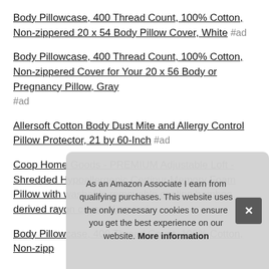Body Pillowcase, 400 Thread Count, 100% Cotton, Non-zippered 20 x 54 Body Pillow Cover, White #ad
Body Pillowcase, 400 Thread Count, 100% Cotton, Non-zippered Cover for Your 20 x 56 Body or Pregnancy Pillow, Gray #ad
Allersoft Cotton Body Dust Mite and Allergy Control Pillow Protector, 21 by 60-Inch #ad
Coop Home Goods - PREMIUM Adjustable Loft - Shredded Hypoallergenic Certipur Memory Foam Pillow with washable removable cooling bamboo derived rayon cover -King #ad
Body Pillowcase, 400 Thread Count, 100% Cotton, Non-zipp
Body Pillowcase, 400 Thread Count, 100% Cotton, Non-zipp... Sag
Coop Home Goods - PREMIUM Adjustable Loft - Shredded
As an Amazon Associate I earn from qualifying purchases. This website uses the only necessary cookies to ensure you get the best experience on our website. More information